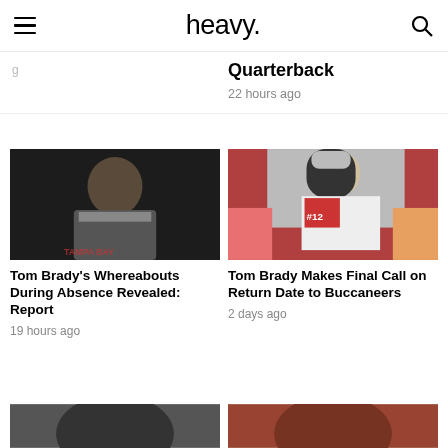heavy.
Quarterback
22 hours ago
[Figure (photo): Tom Brady smiling, wearing a gray Tampa Bay shirt, indoor/dark background]
Tom Brady's Whereabouts During Absence Revealed: Report
19 hours ago
[Figure (photo): Tom Brady in Buccaneers uniform and helmet on the field, crowd in background]
Tom Brady Makes Final Call on Return Date to Buccaneers
2 days ago
[Figure (photo): Partial image of a football player, bottom of page, cropped]
[Figure (photo): Partial image of a football player, bottom of page, cropped]